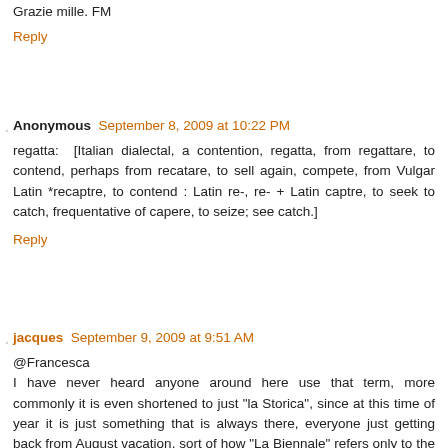Grazie mille. FM
Reply
Anonymous  September 8, 2009 at 10:22 PM
regatta: [Italian dialectal, a contention, regatta, from regattare, to contend, perhaps from recatare, to sell again, compete, from Vulgar Latin *recaptre, to contend : Latin re-, re- + Latin captre, to seek to catch, frequentative of capere, to seize; see catch.]
Reply
jacques  September 9, 2009 at 9:51 AM
@Francesca
I have never heard anyone around here use that term, more commonly it is even shortened to just "la Storica", since at this time of year it is just something that is always there, everyone just getting back from August vacation, sort of how "La Biennale" refers only to the "Esposizione Internazionale d'Arte" (or Architecture in alternating years).